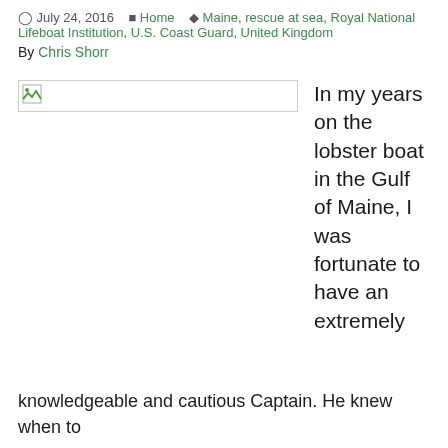July 24, 2016   Home   Maine, rescue at sea, Royal National Lifeboat Institution, U.S. Coast Guard, United Kingdom
By Chris Shorr
[Figure (photo): Broken/missing image placeholder]
In my years on the lobster boat in the Gulf of Maine, I was fortunate to have an extremely
knowledgeable and cautious Captain. He knew when to